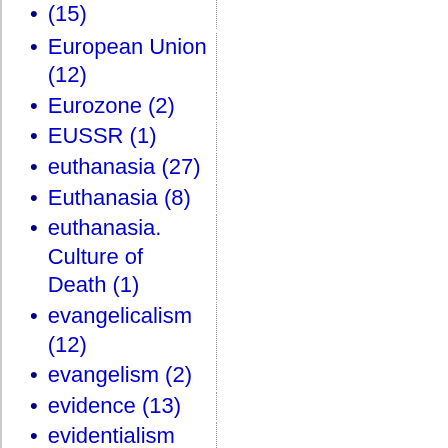(15)
European Union (12)
Eurozone (2)
EUSSR (1)
euthanasia (27)
Euthanasia (8)
euthanasia. Culture of Death (1)
evangelicalism (12)
evangelism (2)
evidence (13)
evidentialism (39)
evil